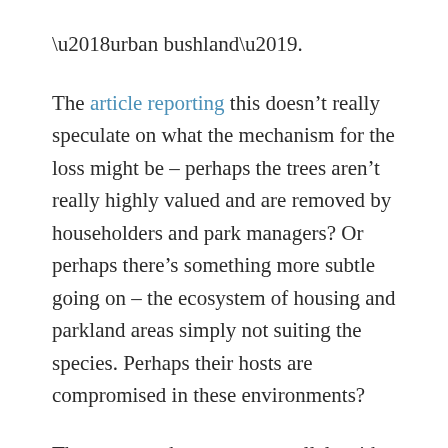‘urban bushland’.
The article reporting this doesn’t really speculate on what the mechanism for the loss might be – perhaps the trees aren’t really highly valued and are removed by householders and park managers? Or perhaps there’s something more subtle going on – the ecosystem of housing and parkland areas simply not suiting the species. Perhaps their hosts are compromised in these environments?
There are, perhaps, some parallels with mistletoe in old orchards redeveloped for housing here in the UK – sometimes some of those old mistletoe-bearing orchard trees are retained within new housing developments, but they don’t always fare too well in their new